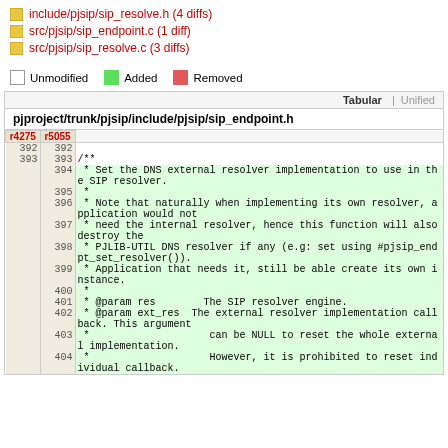include/pjsip/sip_resolve.h (4 diffs)
src/pjsip/sip_endpoint.c (1 diff)
src/pjsip/sip_resolve.c (3 diffs)
Unmodified   Added   Removed
| r4275 | r5055 |  |
| --- | --- | --- |
| 392 | 392 |  |
| 393 | 393 | /** |
|  | 394 |  * Set the DNS external resolver implementation to use in the SIP resolver. |
|  | 395 |  * |
|  | 396 |  * Note that naturally when implementing its own resolver, application would not |
|  | 397 |  * need the internal resolver, hence this function will also destroy the |
|  | 398 |  * PJLIB-UTIL DNS resolver if any (e.g: set using #pjsip_endpt_set_resolver()). |
|  | 399 |  * Application that needs it, still be able create its own instance. |
|  | 400 |  * |
|  | 401 |  * @param res        The SIP resolver engine. |
|  | 402 |  * @param ext_res  The external resolver implementation callback. This argument |
|  | 403 |  *                    can be NULL to reset the whole external implementation. |
|  | 404 |  *                    However, it is prohibited to reset individual callback. |